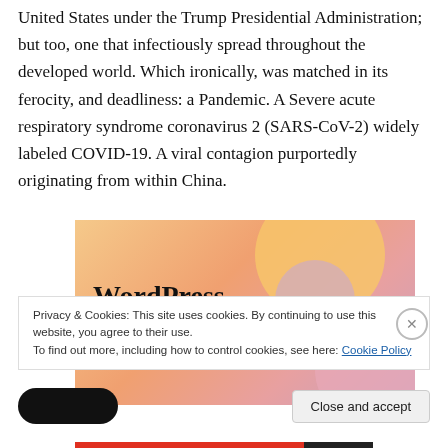United States under the Trump Presidential Administration; but too, one that infectiously spread throughout the developed world. Which ironically, was matched in its ferocity, and deadliness: a Pandemic. A Severe acute respiratory syndrome coronavirus 2 (SARS-CoV-2) widely labeled COVID-19. A viral contagion purportedly originating from within China.
[Figure (illustration): WordPress advertisement banner with colorful bubble background design and bold text reading 'WordPress in the back.']
Privacy & Cookies: This site uses cookies. By continuing to use this website, you agree to their use.
To find out more, including how to control cookies, see here: Cookie Policy